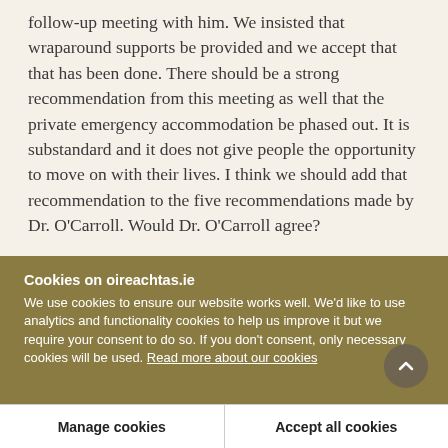follow-up meeting with him. We insisted that wraparound supports be provided and we accept that that has been done. There should be a strong recommendation from this meeting as well that the private emergency accommodation be phased out. It is substandard and it does not give people the opportunity to move on with their lives. I think we should add that recommendation to the five recommendations made by Dr. O'Carroll. Would Dr. O'Carroll agree?
Cookies on oireachtas.ie
We use cookies to ensure our website works well. We'd like to use analytics and functionality cookies to help us improve it but we require your consent to do so. If you don't consent, only necessary cookies will be used. Read more about our cookies
Manage cookies
Accept all cookies